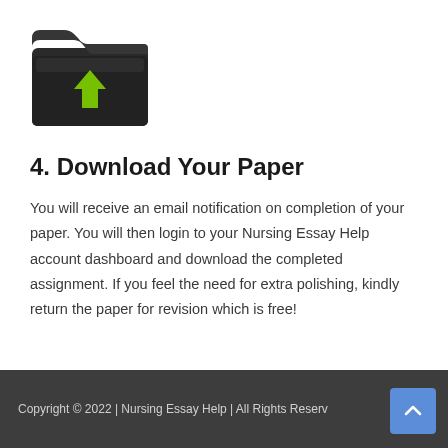[Figure (illustration): A dark 3D folder icon with a green downward arrow on it, representing a download action.]
4. Download Your Paper
You will receive an email notification on completion of your paper. You will then login to your Nursing Essay Help account dashboard and download the completed assignment. If you feel the need for extra polishing, kindly return the paper for revision which is free!
Copyright © 2022 | Nursing Essay Help | All Rights Reserv